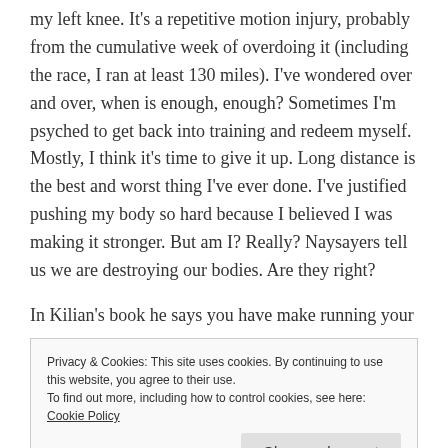my left knee. It's a repetitive motion injury, probably from the cumulative week of overdoing it (including the race, I ran at least 130 miles). I've wondered over and over, when is enough, enough? Sometimes I'm psyched to get back into training and redeem myself. Mostly, I think it's time to give it up. Long distance is the best and worst thing I've ever done. I've justified pushing my body so hard because I believed I was making it stronger. But am I? Really? Naysayers tell us we are destroying our bodies. Are they right?
In Kilian's book he says you have make running your
Privacy & Cookies: This site uses cookies. By continuing to use this website, you agree to their use. To find out more, including how to control cookies, see here: Cookie Policy
Close and accept
I identify as a runner not because I have nothing else,